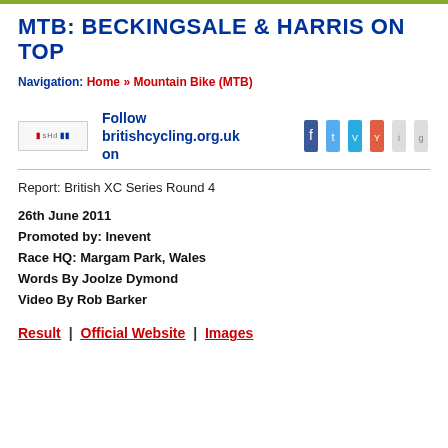MTB: BECKINGSALE & HARRIS ON TOP
Navigation: Home » Mountain Bike (MTB)
[Figure (other): Follow britishcycling.org.uk on — logo and social media icons]
Report: British XC Series Round 4
26th June 2011
Promoted by: Inevent
Race HQ: Margam Park, Wales
Words By Joolze Dymond
Video By Rob Barker
Result | Official Website | Images